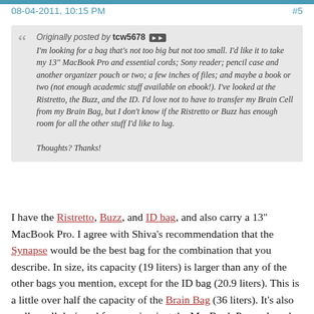08-04-2011, 10:15 PM   #5
Originally posted by tcw5678 ▶▶
I'm looking for a bag that's not too big but not too small. I'd like it to take my 13" MacBook Pro and essential cords; Sony reader; pencil case and another organizer pouch or two; a few inches of files; and maybe a book or two (not enough academic stuff available on ebook!). I've looked at the Ristretto, the Buzz, and the ID. I'd love not to have to transfer my Brain Cell from my Brain Bag, but I don't know if the Ristretto or Buzz has enough room for all the other stuff I'd like to lug.

Thoughts? Thanks!
I have the Ristretto, Buzz, and ID bag, and also carry a 13" MacBook Pro. I agree with Shiva's recommendation that the Synapse would be the best bag for the combination that you describe. In size, its capacity (19 liters) is larger than any of the other bags you mention, except for the ID bag (20.9 liters). This is a little over half the capacity of the Brain Bag (36 liters). It's also really well designed for carrying just the MacBook Pro and cords, but also accommodating other books and notebooks if you need to carry them, whereas I don't think that's as true of the